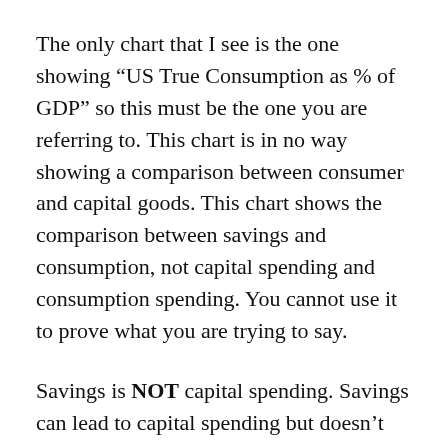The only chart that I see is the one showing “US True Consumption as % of GDP” so this must be the one you are referring to. This chart is in no way showing a comparison between consumer and capital goods. This chart shows the comparison between savings and consumption, not capital spending and consumption spending. You cannot use it to prove what you are trying to say.
Savings is NOT capital spending. Savings can lead to capital spending but doesn’t necessarily have to, especially when the central bank has artificially low interest rates and a fractional reserve banking system. In this case the spending can be created out of thin air by...